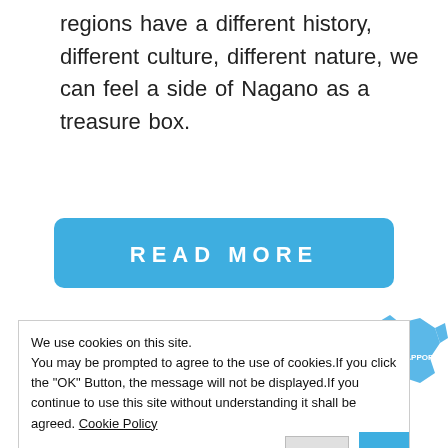regions have a different history, different culture, different nature, we can feel a side of Nagano as a treasure box.
[Figure (other): Blue 'READ MORE' button, rounded rectangle]
[Figure (map): Blue map of Nagano prefecture with labeled locations: ZIGOKU-DAN, NAGANO CITY, HAKUBA, UEDA CITY, MATSUMOTO CITY, and a separate map of Hokkaido with SAPPORO label, connected by an arrow]
We use cookies on this site. You may be prompted to agree to the use of cookies.If you click the "OK" Button, the message will not be displayed.If you continue to use this site without understanding it shall be agreed. Cookie Policy